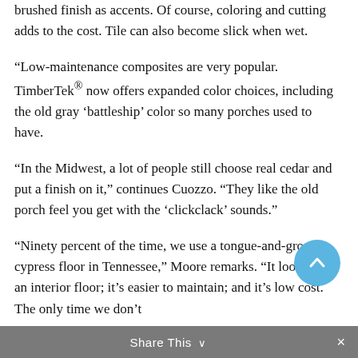brushed finish as accents. Of course, coloring and cutting adds to the cost. Tile can also become slick when wet.
“Low-maintenance composites are very popular. TimberTek® now offers expanded color choices, including the old gray ‘battleship’ color so many porches used to have.
“In the Midwest, a lot of people still choose real cedar and put a finish on it,” continues Cuozzo. “They like the old porch feel you get with the ‘clickclack’ sounds.”
“Ninety percent of the time, we use a tongue-and-groove cypress floor in Tennessee,” Moore remarks. “It looks like an interior floor; it’s easier to maintain; and it’s low cost. The only time we don’t
[Figure (other): Blue circular scroll-to-top button with upward chevron arrow]
Share This ∨ ×